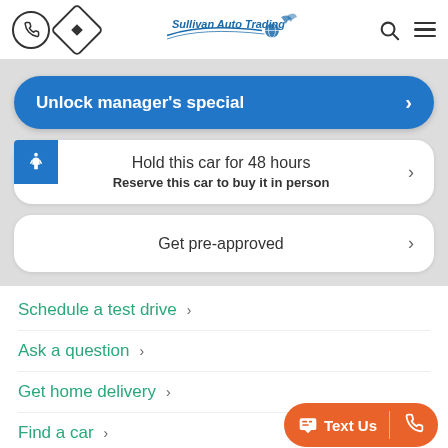[Figure (screenshot): Sullivan Auto Trading website header with phone icon, navigation diamond icon, logo, search icon, and hamburger menu]
Unlock manager's special
Hold this car for 48 hours
Reserve this car to buy it in person
Get pre-approved
Schedule a test drive
Ask a question
Get home delivery
Find a car
Text Us